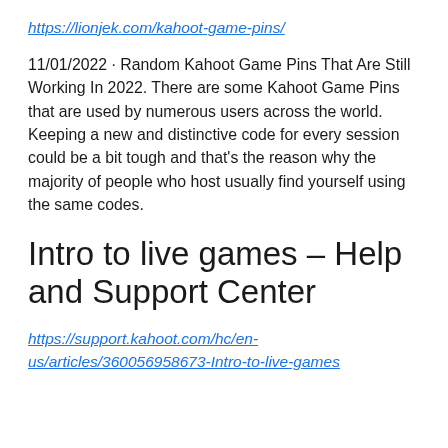https://lionjek.com/kahoot-game-pins/
11/01/2022 · Random Kahoot Game Pins That Are Still Working In 2022. There are some Kahoot Game Pins that are used by numerous users across the world. Keeping a new and distinctive code for every session could be a bit tough and that's the reason why the majority of people who host usually find yourself using the same codes.
Intro to live games – Help and Support Center
https://support.kahoot.com/hc/en-us/articles/360056958673-Intro-to-live-games